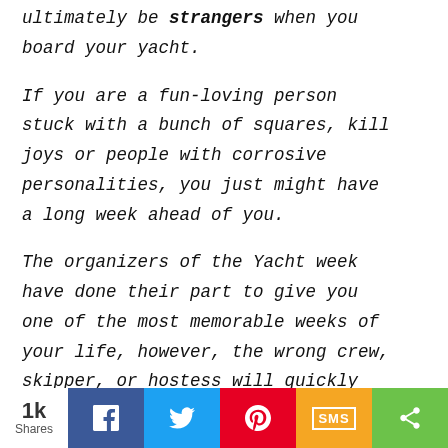ultimately be strangers when you board your yacht.
If you are a fun-loving person stuck with a bunch of squares, kill joys or people with corrosive personalities, you just might have a long week ahead of you.
The organizers of the Yacht week have done their part to give you one of the most memorable weeks of your life, however, the wrong crew, skipper, or hostess will quickly torpedo your week into a downward spiral of regret, dysfunction, and despair.
1k Shares | Facebook | Twitter | Pinterest | SMS | Share